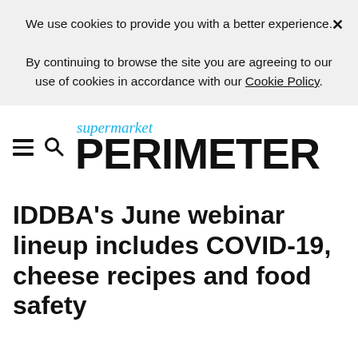We use cookies to provide you with a better experience. ✕ By continuing to browse the site you are agreeing to our use of cookies in accordance with our Cookie Policy.
[Figure (logo): Supermarket Perimeter logo with hamburger menu icon, search icon, italic 'supermarket' in cyan above bold 'PERIMETER' in black]
IDDBA's June webinar lineup includes COVID-19, cheese recipes and food safety